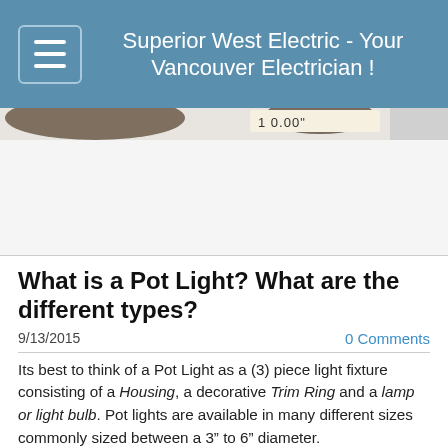Superior West Electric - Your Vancouver Electrician !
[Figure (photo): Partial photo of a pot light / recessed light fixture with a tape measure showing dimensions, mostly cropped with white background below.]
What is a Pot Light? What are the different types?
9/13/2015
0 Comments
Its best to think of a Pot Light as a (3) piece light fixture consisting of a Housing, a decorative Trim Ring and a lamp or light bulb. Pot lights are available in many different sizes commonly sized between a 3” to 6” diameter.